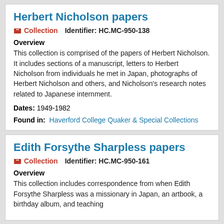Herbert Nicholson papers
Collection   Identifier: HC.MC-950-138
Overview
This collection is comprised of the papers of Herbert Nicholson. It includes sections of a manuscript, letters to Herbert Nicholson from individuals he met in Japan, photographs of Herbert Nicholson and others, and Nicholson's research notes related to Japanese internment.
Dates: 1949-1982
Found in: Haverford College Quaker & Special Collections
Edith Forsythe Sharpless papers
Collection   Identifier: HC.MC-950-161
Overview
This collection includes correspondence from when Edith Forsythe Sharpless was a missionary in Japan, an artbook, a birthday album, and teaching